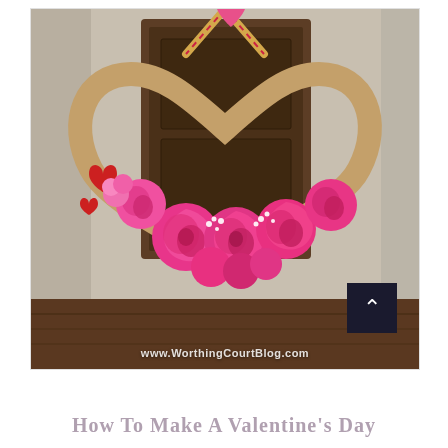[Figure (photo): A heart-shaped Valentine's Day wreath made of burlap/twine base decorated with large hot pink and magenta roses, small pink buds, and white baby's breath flowers, hanging on a rustic dark wooden door. Red felt hearts are attached to the left side of the wreath. A striped ribbon hangs from the top of the wreath. Website watermark reads www.WorthingCourtBlog.com. A dark back-to-top button with a chevron arrow is visible in the bottom-right of the image.]
How To Make A Valentine's Day